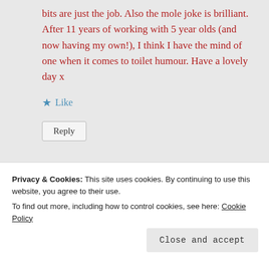bits are just the job. Also the mole joke is brilliant. After 11 years of working with 5 year olds (and now having my own!), I think I have the mind of one when it comes to toilet humour. Have a lovely day x
★ Like
Reply
Privacy & Cookies: This site uses cookies. By continuing to use this website, you agree to their use.
To find out more, including how to control cookies, see here: Cookie Policy
Close and accept